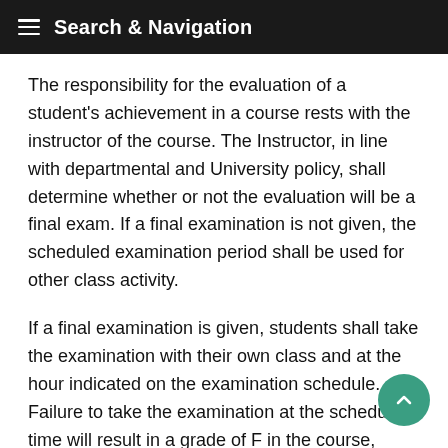Search & Navigation
The responsibility for the evaluation of a student's achievement in a course rests with the instructor of the course. The Instructor, in line with departmental and University policy, shall determine whether or not the evaluation will be a final exam. If a final examination is not given, the scheduled examination period shall be used for other class activity.
If a final examination is given, students shall take the examination with their own class and at the hour indicated on the examination schedule. Failure to take the examination at the scheduled time will result in a grade of F in the course, except when the requisite conditions for granting